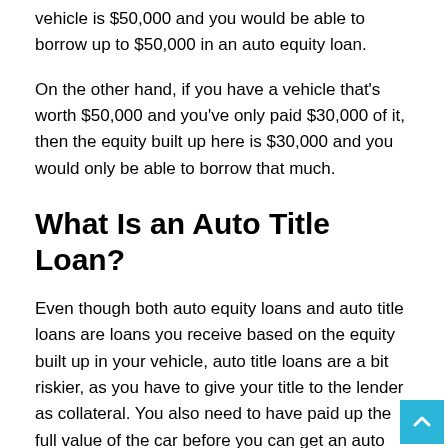vehicle is $50,000 and you would be able to borrow up to $50,000 in an auto equity loan.
On the other hand, if you have a vehicle that's worth $50,000 and you've only paid $30,000 of it, then the equity built up here is $30,000 and you would only be able to borrow that much.
What Is an Auto Title Loan?
Even though both auto equity loans and auto title loans are loans you receive based on the equity built up in your vehicle, auto title loans are a bit riskier, as you have to give your title to the lender as collateral. You also need to have paid up the full value of the car before you can get an auto title loan (not so with an auto equity loan).
Is It a Good Idea to Get These